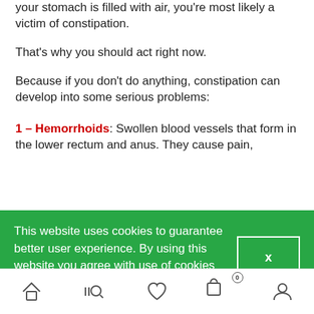your stomach is filled with air, you’re most likely a victim of constipation.
That’s why you should act right now.
Because if you don’t do anything, constipation can develop into some serious problems:
1 – Hemorrhoids: Swollen blood vessels that form in the lower rectum and anus. They cause pain,
This website uses cookies to guarantee better user experience. By using this website you agree with use of cookies on our website.